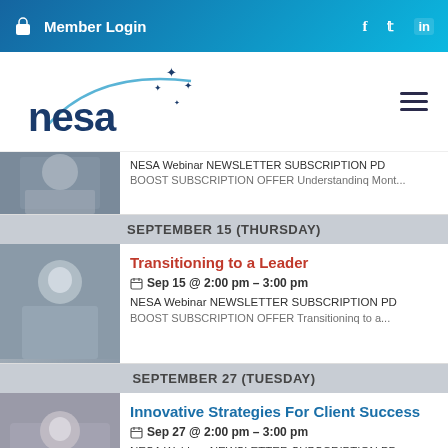Member Login  f  tw  in
[Figure (logo): NESA logo with arc and stars]
NESA Webinar NEWSLETTER SUBSCRIPTION PD BOOST SUBSCRIPTION OFFER Understanding Ment...
SEPTEMBER 15 (THURSDAY)
Transitioning to a Leader
Sep 15 @ 2:00 pm – 3:00 pm
NESA Webinar NEWSLETTER SUBSCRIPTION PD BOOST SUBSCRIPTION OFFER Transitioning to a...
SEPTEMBER 27 (TUESDAY)
Innovative Strategies For Client Success
Sep 27 @ 2:00 pm – 3:00 pm
NESA Webinar NEWSLETTER SUBSCRIPTION PD BOOST SUBSCRIPTION OFFER Innovative Strategies...